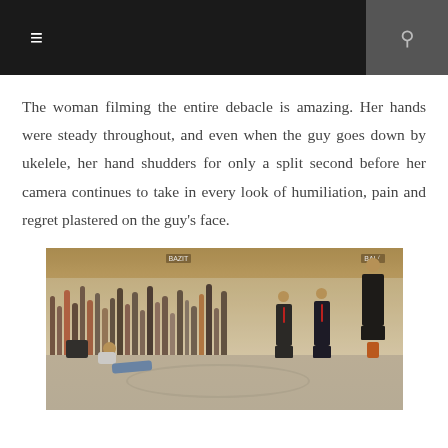≡  🔍
The woman filming the entire debacle is amazing. Her hands were steady throughout, and even when the guy goes down by ukelele, her hand shudders for only a split second before her camera continues to take in every look of humiliation, pain and regret plastered on the guy's face.
[Figure (photo): Photo of a shopping mall interior scene. A crowd of people stands in the background watching. In the foreground, a man in casual clothes is seated/fallen on the floor. Three men in dark suits stand nearby looking at him. Store signs are visible in the background.]